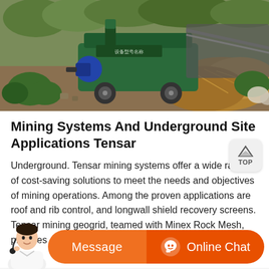[Figure (photo): Outdoor industrial scene showing a green mining/agricultural machine with blue motor on the left, surrounded by bales of straw/hay and green bags, with a conveyor belt visible in the background.]
Mining Systems And Underground Site Applications Tensar
Underground. Tensar mining systems offer a wide range of cost-saving solutions to meet the needs and objectives of mining operations. Among the proven applications are roof and rib control, and longwall shield recovery screens. Tensar mining geogrid, teamed with Minex Rock Mesh, provides effective roof and rib control for soft minerals as ...